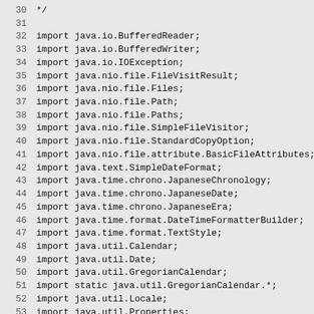30  */
31
32  import java.io.BufferedReader;
33  import java.io.BufferedWriter;
34  import java.io.IOException;
35  import java.nio.file.FileVisitResult;
36  import java.nio.file.Files;
37  import java.nio.file.Path;
38  import java.nio.file.Paths;
39  import java.nio.file.SimpleFileVisitor;
40  import java.nio.file.StandardCopyOption;
41  import java.nio.file.attribute.BasicFileAttributes;
42  import java.text.SimpleDateFormat;
43  import java.time.chrono.JapaneseChronology;
44  import java.time.chrono.JapaneseDate;
45  import java.time.chrono.JapaneseEra;
46  import java.time.format.DateTimeFormatterBuilder;
47  import java.time.format.TextStyle;
48  import java.util.Calendar;
49  import java.util.Date;
50  import java.util.GregorianCalendar;
51  import static java.util.GregorianCalendar.*;
52  import java.util.Locale;
53  import java.util.Properties;
54  import java.util.TimeZone;
55
56  import jdk.testlibrary.ProcessTools;
57  import org.testng.annotations.BeforeTest;
58  import org.testng.annotations.Test;
59  import static org.testng.Assert.*;